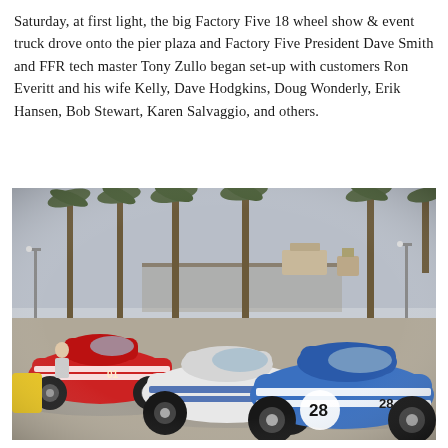Saturday, at first light, the big Factory Five 18 wheel show & event truck drove onto the pier plaza and Factory Five President Dave Smith and FFR tech master Tony Zullo began set-up with customers Ron Everitt and his wife Kelly, Dave Hodgkins, Doug Wonderly, Erik Hansen, Bob Stewart, Karen Salvaggio, and others.
[Figure (photo): Three Factory Five sports cars (a red one, a white one with blue stripes, and a blue one with white stripes numbered 28) parked on a pier plaza with palm trees, a boardwalk pier, and overcast sky in the background.]